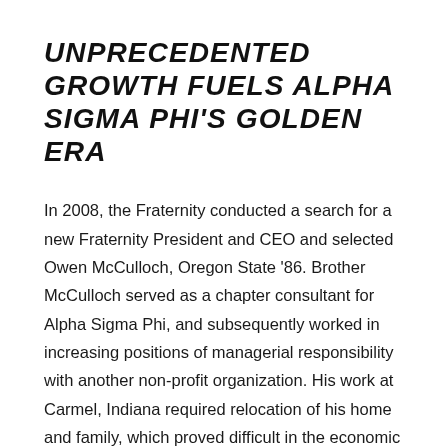UNPRECEDENTED GROWTH FUELS ALPHA SIGMA PHI'S GOLDEN ERA
In 2008, the Fraternity conducted a search for a new Fraternity President and CEO and selected Owen McCulloch, Oregon State '86. Brother McCulloch served as a chapter consultant for Alpha Sigma Phi, and subsequently worked in increasing positions of managerial responsibility with another non-profit organization. His work at Carmel, Indiana required relocation of his home and family, which proved difficult in the economic conditions and housing market of the time. The ongoing relocation difficulty led McCulloch to leave the President and CEO position. Prior President